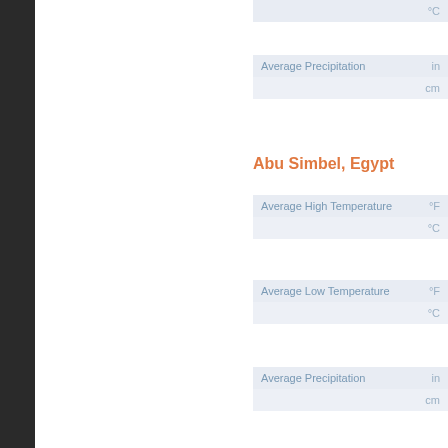|  |  |
| --- | --- |
| °C |  |
| Average Precipitation |  |
| --- | --- |
|  | in |
|  | cm |
Abu Simbel, Egypt
| Average High Temperature |  |
| --- | --- |
|  | °F |
|  | °C |
| Average Low Temperature |  |
| --- | --- |
|  | °F |
|  | °C |
| Average Precipitation |  |
| --- | --- |
|  | in |
|  | cm |
Jordan
Jordan has a wide range of climates. Aquaba, experience the most heat a